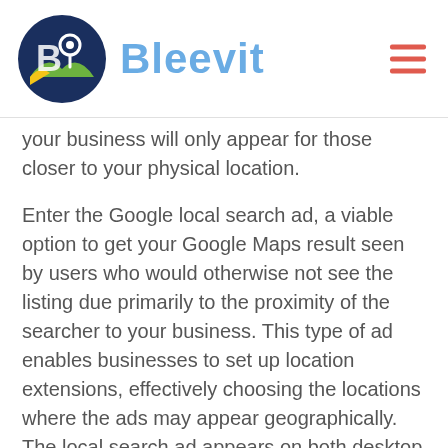[Figure (logo): Bleevit logo: dark navy circle with a stylized B and map pin icon, followed by the word Bleevit in light blue bold text]
your business will only appear for those closer to your physical location.
Enter the Google local search ad, a viable option to get your Google Maps result seen by users who would otherwise not see the listing due primarily to the proximity of the searcher to your business. This type of ad enables businesses to set up location extensions, effectively choosing the locations where the ads may appear geographically. The local search ad appears on both desktop and mobile results and links